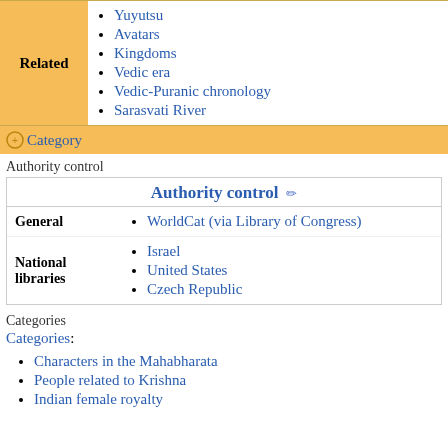| Related | Links |
| --- | --- |
| Related | Avatars, Kingdoms, Vedic era, Vedic-Puranic chronology, Sarasvati River |
Category
Authority control
| Authority control |  |
| --- | --- |
| General | WorldCat (via Library of Congress) |
| National libraries | Israel, United States, Czech Republic |
Categories
Categories:
Characters in the Mahabharata
People related to Krishna
Indian female royalty